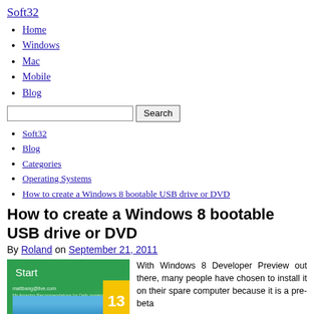Soft32
Home
Windows
Mac
Mobile
Blog
Soft32
Blog
Categories
Operating Systems
How to create a Windows 8 bootable USB drive or DVD
How to create a Windows 8 bootable USB drive or DVD
By Roland on September 21, 2011
[Figure (screenshot): Windows 8 Developer Preview Start screen showing tiles including email and number 13]
With Windows 8 Developer Preview out there, many people have chosen to install it on their spare computer because it is a pre-beta